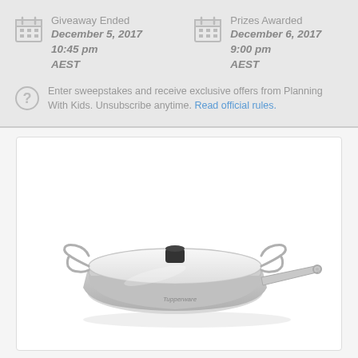Giveaway Ended
December 5, 2017 10:45 pm
AEST
Prizes Awarded
December 6, 2017 9:00 pm
AEST
Enter sweepstakes and receive exclusive offers from Planning With Kids. Unsubscribe anytime. Read official rules.
[Figure (photo): Tupperware stainless steel frying pan with glass lid and long handle on white background]